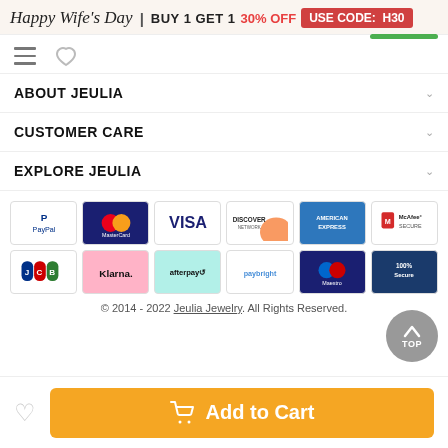Happy Wife's Day | BUY 1 GET 1 30% OFF USE CODE: H30
ABOUT JEULIA
CUSTOMER CARE
EXPLORE JEULIA
[Figure (infographic): Payment method logos: PayPal, MasterCard, VISA, Discover, American Express, McAfee Secure, JCB, Klarna, afterpay, paybright, Maestro, 100% Secure badge]
© 2014 - 2022 Jeulia Jewelry. All Rights Reserved.
Add to Cart